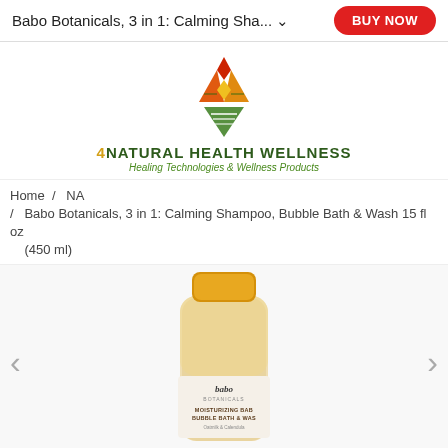Babo Botanicals, 3 in 1: Calming Sha... ∨  BUY NOW
[Figure (logo): 4Natural Health Wellness logo with geometric diamond/arrow shape in green, yellow, orange, and red colors. Text: 4NATURAL HEALTH WELLNESS, Healing Technologies & Wellness Products]
Home  /  NA
/  Babo Botanicals, 3 in 1: Calming Shampoo, Bubble Bath & Wash 15 fl oz (450 ml)
[Figure (photo): Babo Botanicals Moisturizing Baby Bubble Bath & Wash product bottle with yellow cap and clear bottle, label showing babo botanicals branding, Oatmilk & Calendula]